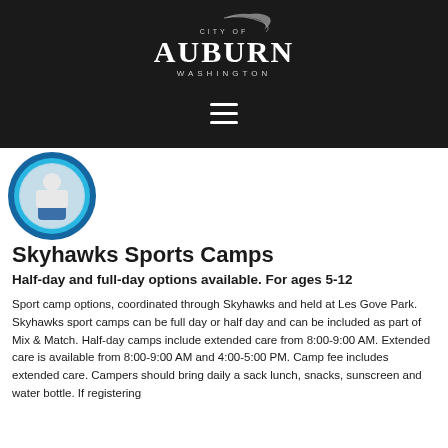[Figure (logo): City of Auburn Washington official logo with decorative script flourish, white text on dark background]
[Figure (other): Hamburger menu icon (three horizontal white lines) on dark background]
[Figure (photo): Circular cropped photo of a youth athlete in a blue and white uniform, shown from mid-torso up, with blue circular border/frame]
Skyhawks Sports Camps
Half-day and full-day options available. For ages 5-12
Sport camp options, coordinated through Skyhawks and held at Les Gove Park.  Skyhawks sport camps can be full day or half day and can be included as part of Mix & Match. Half-day camps include extended care from 8:00-9:00 AM. Extended care is available from 8:00-9:00 AM and 4:00-5:00 PM. Camp fee includes extended care. Campers should bring daily a sack lunch, snacks, sunscreen and water bottle. If registering